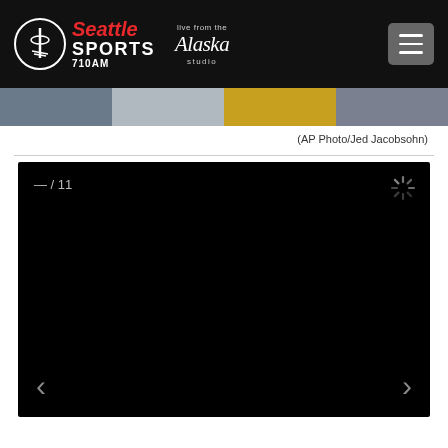Seattle Sports 710AM — Live from the Alaska Studio
[Figure (photo): Partial photo strip showing sports images, partially cropped at top of content area]
(AP Photo/Jed Jacobsohn)
[Figure (photo): Gallery viewer showing black loading screen with counter '— / 11' and a loading spinner, with left and right navigation arrows at bottom]